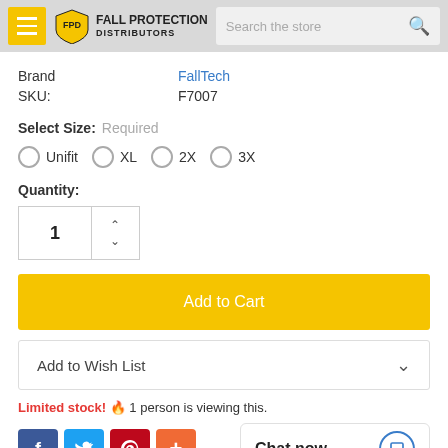Fall Protection Distributors — Search the store
Brand   FallTech
SKU:   F7007
Select Size: Required
Unifit
XL
2X
3X
Quantity:
1
Add to Cart
Add to Wish List
Limited stock! 🔥 1 person is viewing this.
Chat now